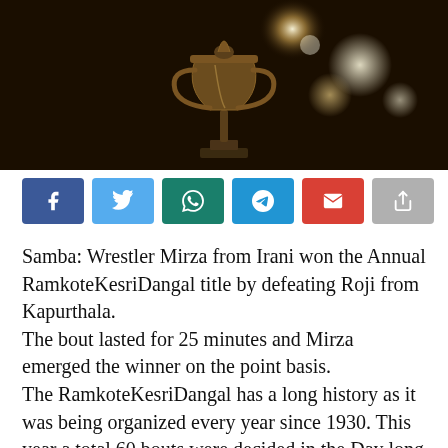[Figure (photo): Dark background photo showing a trophy or ornamental object with bokeh light effects in background]
[Figure (infographic): Social media share buttons row: Facebook (blue), Twitter (light blue), WhatsApp (teal), Telegram (blue), Email (red), Share (grey)]
Samba: Wrestler Mirza from Irani won the Annual RamkoteKesriDangal title by defeating Roji from Kapurthala.
The bout lasted for 25 minutes and Mirza emerged the winner on the point basis.
The RamkoteKesriDangal has a long history as it was being organized every year since 1930. This year a total 60 bouts were decided in the Day long dangal amid a crowd of more than 25000 spectators.
The Event was organized by the Dangal Committee